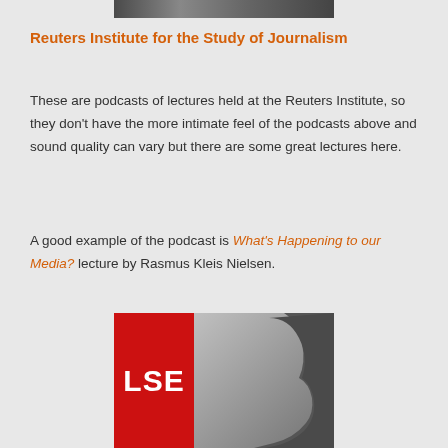[Figure (photo): Partial image of people at top of page, cropped]
Reuters Institute for the Study of Journalism
These are podcasts of lectures held at the Reuters Institute, so they don't have the more intimate feel of the podcasts above and sound quality can vary but there are some great lectures here.
A good example of the podcast is What's Happening to our Media? lecture by Rasmus Kleis Nielsen.
[Figure (logo): LSE logo (red box with white LSE text) alongside a grey silhouette of a face, bottom of page]